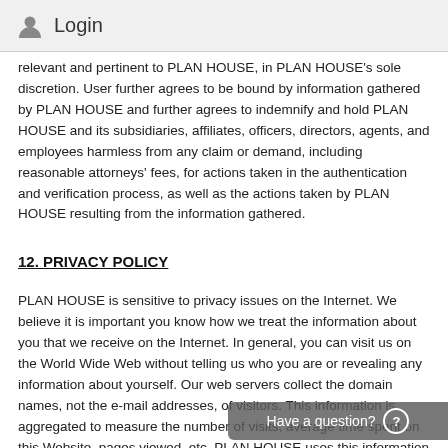Login
relevant and pertinent to PLAN HOUSE, in PLAN HOUSE's sole discretion. User further agrees to be bound by information gathered by PLAN HOUSE and further agrees to indemnify and hold PLAN HOUSE and its subsidiaries, affiliates, officers, directors, agents, and employees harmless from any claim or demand, including reasonable attorneys' fees, for actions taken in the authentication and verification process, as well as the actions taken by PLAN HOUSE resulting from the information gathered.
12. PRIVACY POLICY
PLAN HOUSE is sensitive to privacy issues on the Internet. We believe it is important you know how we treat the information about you that we receive on the Internet. In general, you can visit us on the World Wide Web without telling us who you are or revealing any information about yourself. Our web servers collect the domain names, not the e-mail addresses, of visitors. This information is aggregated to measure the number of visits, average time spent on this Website, pages viewed, etc. PLAN HOUSE uses this information to improve the use of our Site and to improve and